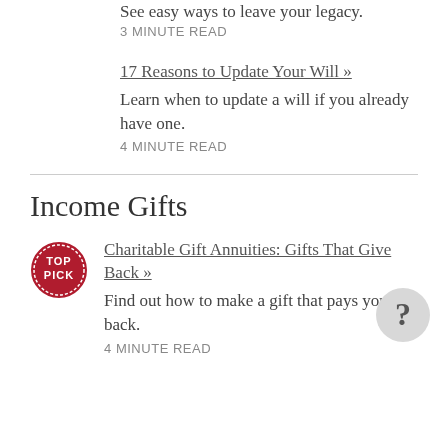See easy ways to leave your legacy.
3 MINUTE READ
17 Reasons to Update Your Will »
Learn when to update a will if you already have one.
4 MINUTE READ
Income Gifts
Charitable Gift Annuities: Gifts That Give Back »
Find out how to make a gift that pays you back.
4 MINUTE READ